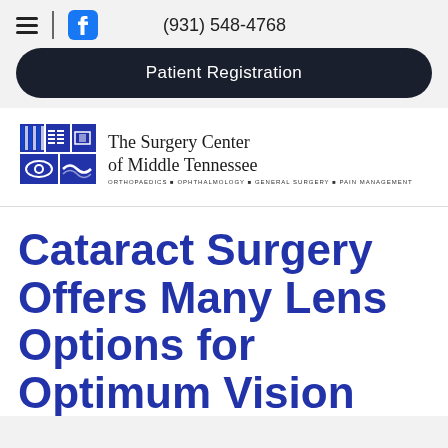≡ | f  (931) 548-4768
Patient Registration
[Figure (logo): The Surgery Center of Middle Tennessee logo with blue grid icons and tagline: Orthopaedics, Ophthalmology, General Surgery, Pain Management]
Cataract Surgery Offers Many Lens Options for Optimum Vision